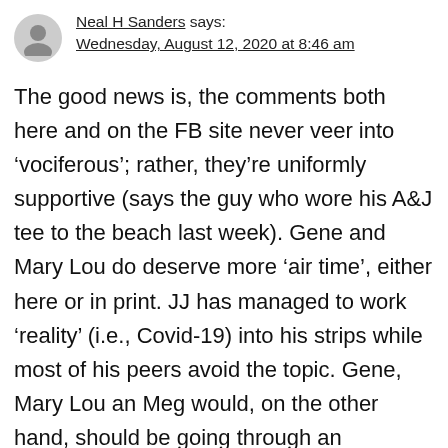Neal H Sanders says: Wednesday, August 12, 2020 at 8:46 am
The good news is, the comments both here and on the FB site never veer into ‘vociferous’; rather, they’re uniformly supportive (says the guy who wore his A&J tee to the beach last week). Gene and Mary Lou do deserve more ‘air time’, either here or in print. JJ has managed to work ‘reality’ (i.e., Covid-19) into his strips while most of his peers avoid the topic. Gene, Mary Lou an Meg would, on the other hand, should be going through an existential crisis… out of which should come